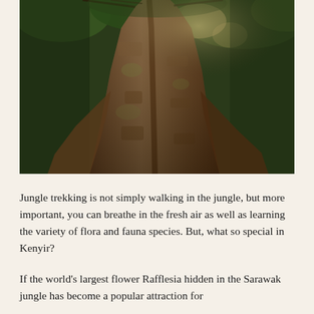[Figure (photo): A large tropical tree trunk photographed from below looking up, showing the massive buttressed trunk with forest canopy and light visible at the top]
Jungle trekking is not simply walking in the jungle, but more important, you can breathe in the fresh air as well as learning the variety of flora and fauna species. But, what so special in Kenyir?
If the world's largest flower Rafflesia hidden in the Sarawak jungle has become a popular attraction for tourists, the unique species in the forest...